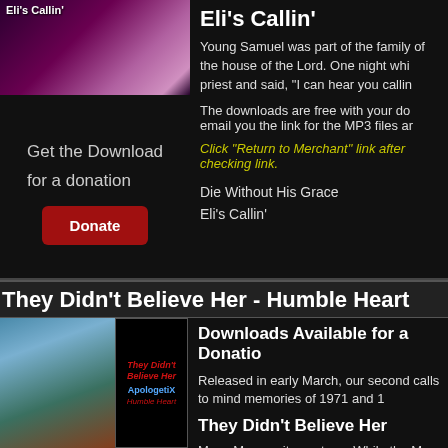[Figure (illustration): Album art for Eli's Callin' - purple/pink toned image with figure]
Eli's Callin'
Young Samuel was part of the family of the house of the Lord. One night while sleeping, he ran to the priest and said, "I can hear you calling."
Get the Download for a donation
[Figure (other): Donate button (red rounded rectangle)]
The downloads are free with your donation. We will email you the link for the MP3 files and...
Click "Return to Merchant" link after checking out to get the link.
Die Without His Grace
Eli's Callin'
They Didn't Believe Her - Humble Heart
[Figure (photo): Photo of woman in red head covering with stone background, plus album cover for They Didn't Believe Her by ApologetiX - Humble Heart]
Downloads Available for a Donation
Released in early March, our second album of 2011 calls to mind memories of 1971 and 1...
They Didn't Believe Her
Mary, Mary, quite contrary. While the... Ms. Magdalene was going down to the... resurrection, sometime in the morning...
Humble Heart